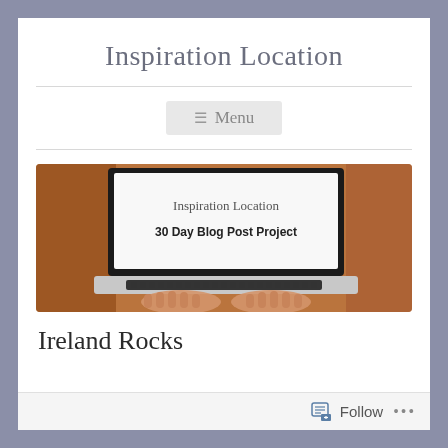Inspiration Location
≡ Menu
[Figure (screenshot): Laptop computer showing a webpage titled 'Inspiration Location' with subtitle '30 Day Blog Post Project', with hands typing on the keyboard, on a wooden table background.]
Ireland Rocks
Follow ...